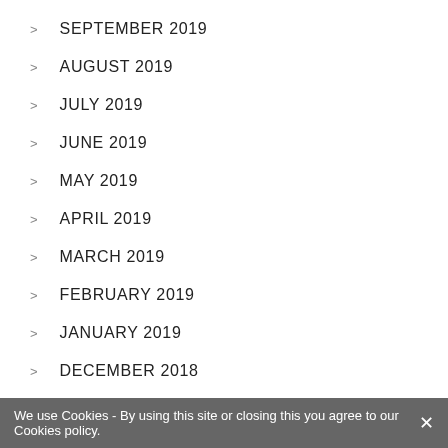SEPTEMBER 2019
AUGUST 2019
JULY 2019
JUNE 2019
MAY 2019
APRIL 2019
MARCH 2019
FEBRUARY 2019
JANUARY 2019
DECEMBER 2018
NOVEMBER 2018
OCTOBER 2018
JULY 2018
We use Cookies - By using this site or closing this you agree to our Cookies policy. ×